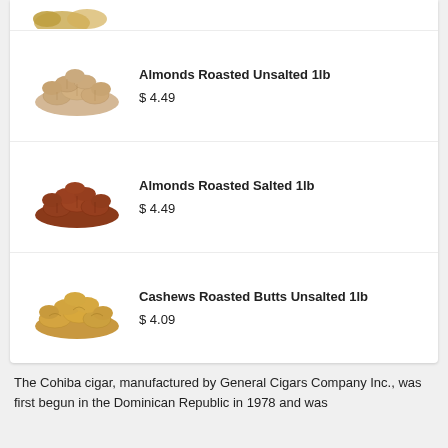[Figure (photo): Partial view of nuts/dried fruits at top of product card (cropped)]
Almonds Roasted Unsalted 1lb
$ 4.49
[Figure (photo): Pile of roasted unsalted almonds (beige/tan colored)]
Almonds Roasted Salted 1lb
$ 4.49
[Figure (photo): Pile of roasted salted almonds (reddish-brown colored)]
Cashews Roasted Butts Unsalted 1lb
$ 4.09
[Figure (photo): Pile of roasted unsalted cashews (golden/tan colored)]
The Cohiba cigar, manufactured by General Cigars Company Inc., was first begun in the Dominican Republic in 1978 and was